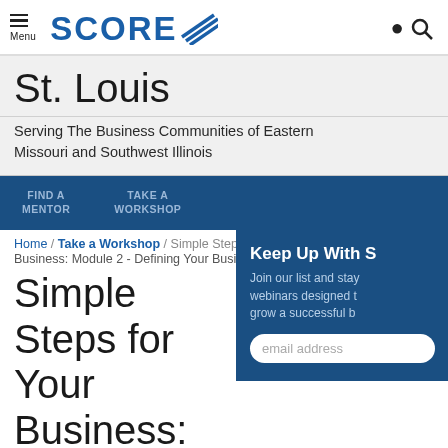Menu | SCORE | Search
St. Louis
Serving The Business Communities of Eastern Missouri and Southwest Illinois
FIND A MENTOR | TAKE A WORKSHOP
Home / Take a Workshop / Simple Steps ... Business: Module 2 - Defining Your Busi...
Simple Steps for Starting Your Business: Module 2 - Defining Your Business Concept
Keep Up With S
Join our list and stay... webinars designed t... grow a successful b...
email address